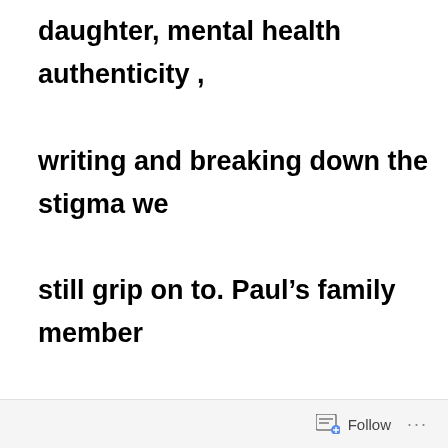daughter, mental health authenticity , writing and breaking down the stigma we still grip on to. Paul's family member trolled all the websites and decided to leave me with a comment I couldn't bear to read.

Some folk would argue that Paul wanted a simple life and to have his voice heard...
Follow ···